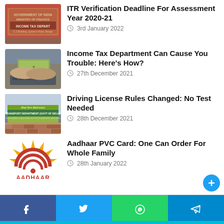[Figure (photo): Income Tax Department building sign photo]
ITR Verification Deadline For Assessment Year 2020-21
3rd January 2022
[Figure (photo): Person counting cash money photo]
Income Tax Department Can Cause You Trouble: Here's How?
27th December 2021
[Figure (photo): Transport Department Govt of Delhi sign photo]
Driving License Rules Changed: No Test Needed
28th December 2021
[Figure (logo): Aadhaar logo with sun rays design]
Aadhaar PVC Card: One Can Order For Whole Family
28th January 2022